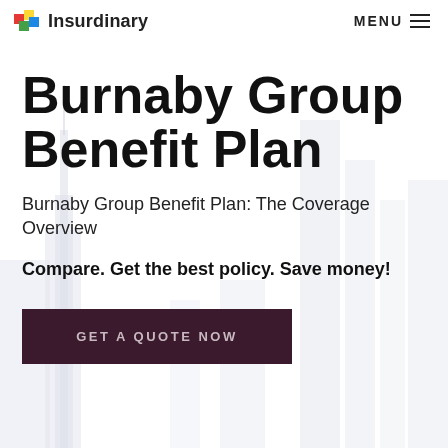Insurdinary  MENU
Burnaby Group Benefit Plan
Burnaby Group Benefit Plan: The Coverage Overview
Compare. Get the best policy. Save money!
GET A QUOTE NOW